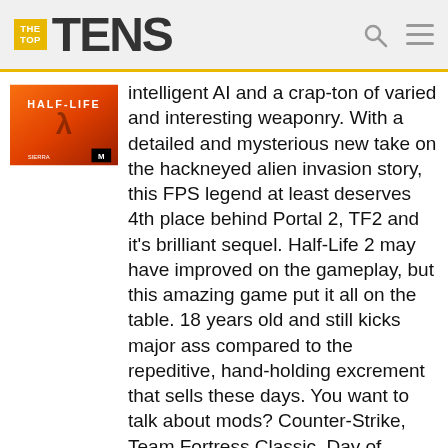THE TOP TENS
[Figure (photo): Half-Life game cover with orange background and lambda symbol]
intelligent AI and a crap-ton of varied and interesting weaponry. With a detailed and mysterious new take on the hackneyed alien invasion story, this FPS legend at least deserves 4th place behind Portal 2, TF2 and it's brilliant sequel. Half-Life 2 may have improved on the gameplay, but this amazing game put it all on the table. 18 years old and still kicks major ass compared to the repeditive, hand-holding excrement that sells these days. You want to talk about mods? Counter-Strike, Team Fortress Classic, Day of Defeat. All fantastic games that would have never become a reality if not for this. The list would be half as short without Mr